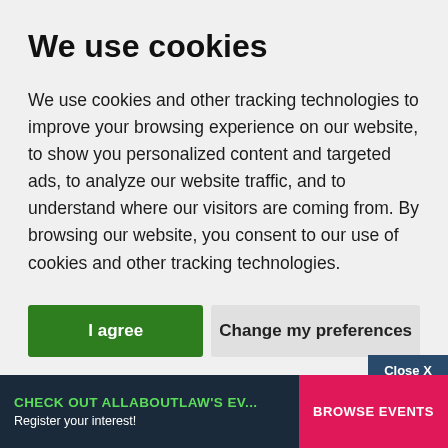We use cookies
We use cookies and other tracking technologies to improve your browsing experience on our website, to show you personalized content and targeted ads, to analyze our website traffic, and to understand where our visitors are coming from. By browsing our website, you consent to our use of cookies and other tracking technologies.
I agree
Change my preferences
Close X
CHECK OUT ALLABOUTLAW'S EV...
Register your interest!
BROWSE EVENTS